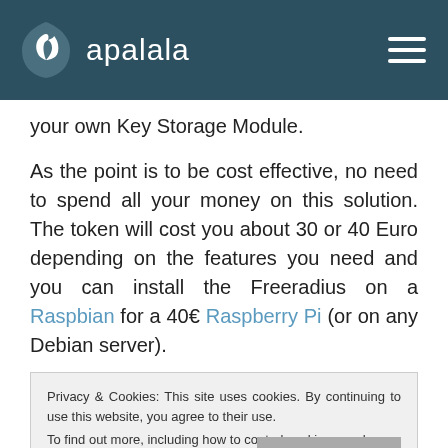apalala
your own Key Storage Module.
As the point is to be cost effective, no need to spend all your money on this solution. The token will cost you about 30 or 40 Euro depending on the features you need and you can install the Freeradius on a Raspbian for a 40€ Raspberry Pi (or on any Debian server).
As Yubico's website is not really the most user
Privacy & Cookies: This site uses cookies. By continuing to use this website, you agree to their use.
To find out more, including how to control cookies, see here:
Cookie Policy
Close and accept
know if you are using sudo or just su, I will put